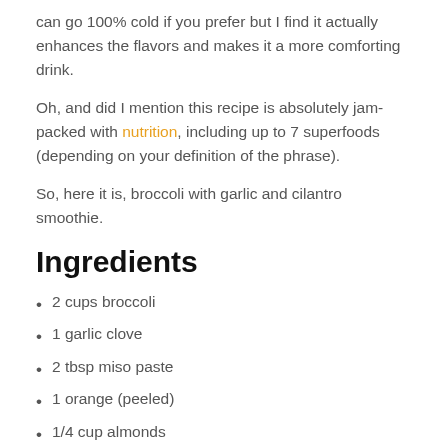can go 100% cold if you prefer but I find it actually enhances the flavors and makes it a more comforting drink.
Oh, and did I mention this recipe is absolutely jam-packed with nutrition, including up to 7 superfoods (depending on your definition of the phrase).
So, here it is, broccoli with garlic and cilantro smoothie.
Ingredients
2 cups broccoli
1 garlic clove
2 tbsp miso paste
1 orange (peeled)
1/4 cup almonds
1 tbs ...